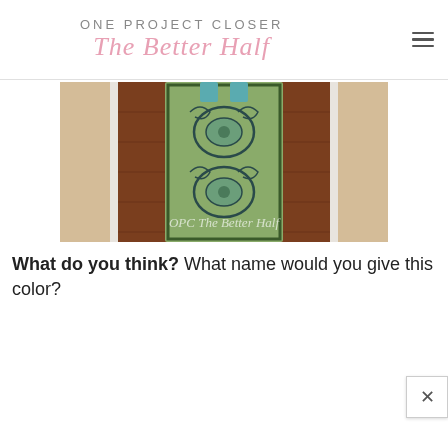ONE PROJECT CLOSER The Better Half
[Figure (photo): Interior hallway with dark hardwood floors and a decorative teal/green patterned area rug runner. White baseboard trim visible on sides. Watermark reads 'OPC The Better Half'.]
What do you think? What name would you give this color?